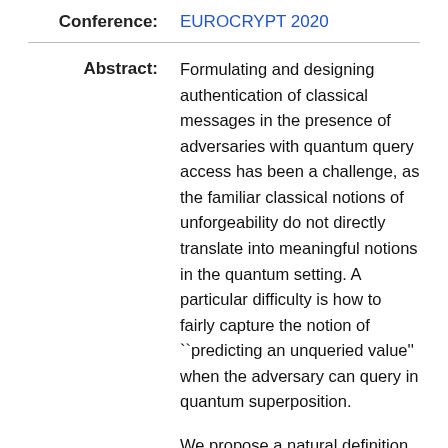Conference: EUROCRYPT 2020
Abstract: Formulating and designing authentication of classical messages in the presence of adversaries with quantum query access has been a challenge, as the familiar classical notions of unforgeability do not directly translate into meaningful notions in the quantum setting. A particular difficulty is how to fairly capture the notion of ``predicting an unqueried value'' when the adversary can query in quantum superposition.

We propose a natural definition of unforgeability against quantum adversaries called blind unforgeability. This notion defines a